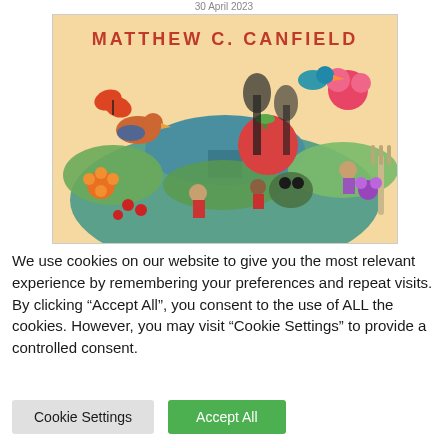30 April 2023
[Figure (illustration): Book cover illustration showing 'Matthew C. Canfield' in red text at top, with a colorful folk-art style scene of birds, butterflies, flowers, plants, and small human figures on a warm orange/cream background]
We use cookies on our website to give you the most relevant experience by remembering your preferences and repeat visits. By clicking “Accept All”, you consent to the use of ALL the cookies. However, you may visit “Cookie Settings” to provide a controlled consent.
Cookie Settings
Accept All